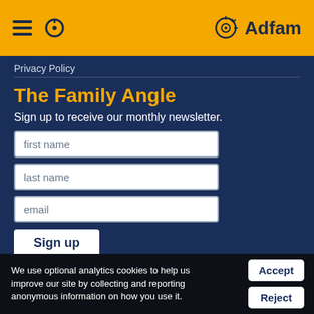Adfam
Privacy Policy
The Family Angle
Sign up to receive our monthly newsletter.
first name
last name
email
Sign up
protected by reCAPTCHA   privacy · terms
We use optional analytics cookies to help us improve our site by collecting and reporting anonymous information on how you use it.